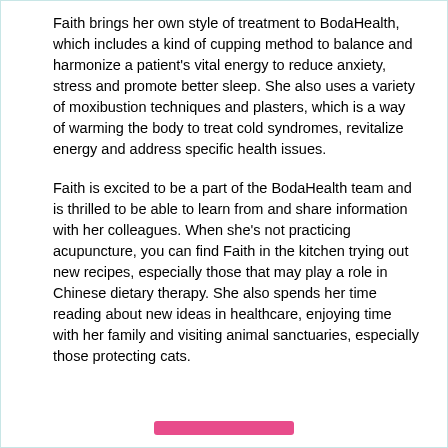Faith brings her own style of treatment to BodaHealth, which includes a kind of cupping method to balance and harmonize a patient's vital energy to reduce anxiety, stress and promote better sleep. She also uses a variety of moxibustion techniques and plasters, which is a way of warming the body to treat cold syndromes, revitalize energy and address specific health issues.
Faith is excited to be a part of the BodaHealth team and is thrilled to be able to learn from and share information with her colleagues. When she's not practicing acupuncture, you can find Faith in the kitchen trying out new recipes, especially those that may play a role in Chinese dietary therapy. She also spends her time reading about new ideas in healthcare, enjoying time with her family and visiting animal sanctuaries, especially those protecting cats.